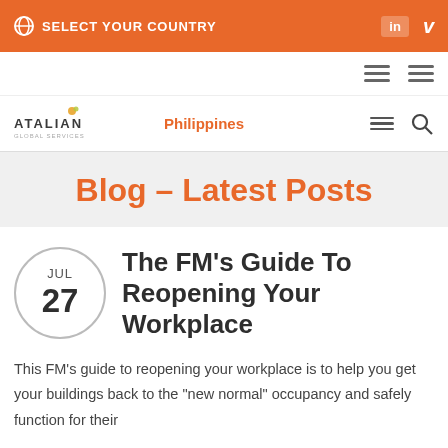SELECT YOUR COUNTRY
[Figure (logo): ATALIAN Global Services logo]
Philippines
Blog – Latest Posts
The FM's Guide To Reopening Your Workplace
This FM's guide to reopening your workplace is to help you get your buildings back to the "new normal" occupancy and safely function for their